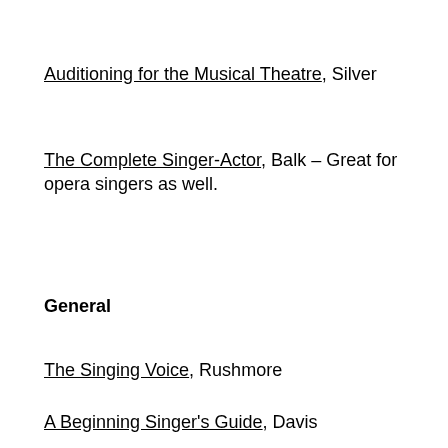Auditioning for the Musical Theatre, Silver
The Complete Singer-Actor, Balk – Great for opera singers as well.
General
The Singing Voice, Rushmore
A Beginning Singer's Guide, Davis